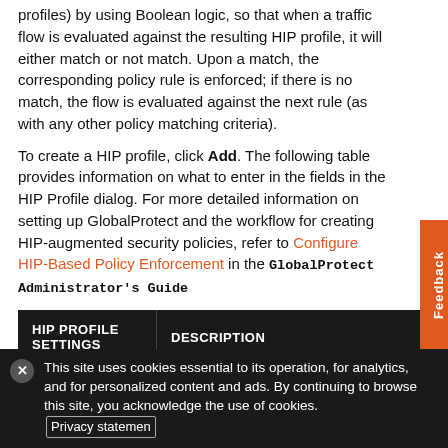profiles) by using Boolean logic, so that when a traffic flow is evaluated against the resulting HIP profile, it will either match or not match. Upon a match, the corresponding policy rule is enforced; if there is no match, the flow is evaluated against the next rule (as with any other policy matching criteria).
To create a HIP profile, click Add. The following table provides information on what to enter in the fields in the HIP Profile dialog. For more detailed information on setting up GlobalProtect and the workflow for creating HIP-augmented security policies, refer to Configure HIP-Based Policy Enforcement in the GlobalProtect Administrator's Guide
| HIP PROFILE SETTINGS | DESCRIPTION |
| --- | --- |
| Name | Enter a name for the profile (up to 31 characters). The name is case-sensitive |
This site uses cookies essential to its operation, for analytics, and for personalized content and ads. By continuing to browse this site, you acknowledge the use of cookies. Privacy statement